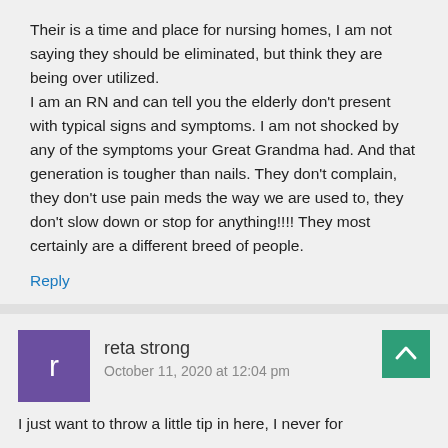Their is a time and place for nursing homes, I am not saying they should be eliminated, but think they are being over utilized.
I am an RN and can tell you the elderly don't present with typical signs and symptoms. I am not shocked by any of the symptoms your Great Grandma had. And that generation is tougher than nails. They don't complain, they don't use pain meds the way we are used to, they don't slow down or stop for anything!!!!
They most certainly are a different breed of people.
Reply
reta strong
October 11, 2020 at 12:04 pm
I just want to throw a little tip in here, I never for